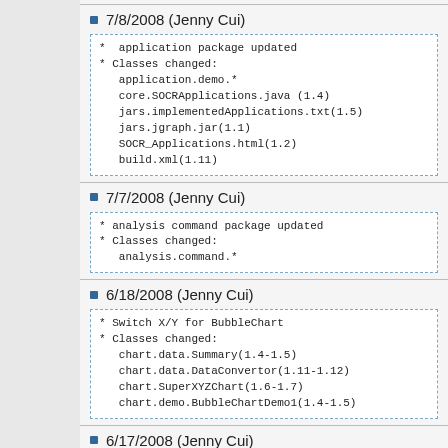7/8/2008 (Jenny Cui)
*  application package updated
* Classes changed:
   application.demo.*
   core.SOCRApplications.java (1.4)
   jars.implementedApplications.txt(1.5)
   jars.jgraph.jar(1.1)
   SOCR_Applications.html(1.2)
   build.xml(1.11)
7/7/2008 (Jenny Cui)
* analysis command package updated
* Classes changed:
   analysis.command.*
6/18/2008 (Jenny Cui)
* Switch X/Y for BubbleChart
* Classes changed:
   chart.data.Summary(1.4-1.5)
   chart.data.DataConvertor(1.11-1.12)
   chart.SuperXYZChart(1.6-1.7)
   chart.demo.BubbleChartDemo1(1.4-1.5)
6/17/2008 (Jenny Cui)